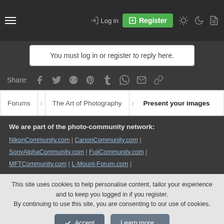Log in | Register
You must log in or register to reply here.
Share: (social icons: Facebook, Twitter, Reddit, Pinterest, Tumblr, WhatsApp, Email, Link)
Forums > The Art of Photography > Present your images
We are part of the photo-community network: NikonCommunity.com | CanonCommunity.com | SonyAlphaCommunity.com | FujiCommunity.com | MFTCommunity.com | L-Mount-Forum.com |
This site uses cookies to help personalise content, tailor your experience and to keep you logged in if you register. By continuing to use this site, you are consenting to our use of cookies.
Accept | Learn more...